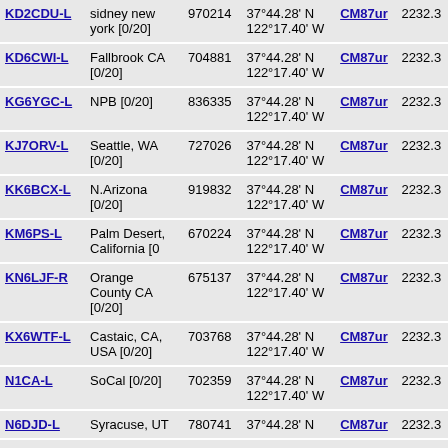| Callsign | Location | SSID | Coordinates | Grid | Freq |
| --- | --- | --- | --- | --- | --- |
| KD2CDU-L | sidney new york [0/20] | 970214 | 37°44.28' N 122°17.40' W | CM87ur | 2232.3 |
| KD6CWI-L | Fallbrook CA [0/20] | 704881 | 37°44.28' N 122°17.40' W | CM87ur | 2232.3 |
| KG6YGC-L | NPB [0/20] | 836335 | 37°44.28' N 122°17.40' W | CM87ur | 2232.3 |
| KJ7ORV-L | Seattle, WA [0/20] | 727026 | 37°44.28' N 122°17.40' W | CM87ur | 2232.3 |
| KK6BCX-L | N.Arizona [0/20] | 919832 | 37°44.28' N 122°17.40' W | CM87ur | 2232.3 |
| KM6PS-L | Palm Desert, California [0 | 670224 | 37°44.28' N 122°17.40' W | CM87ur | 2232.3 |
| KN6LJF-R | Orange County CA [0/20] | 675137 | 37°44.28' N 122°17.40' W | CM87ur | 2232.3 |
| KX6WTF-L | Castaic, CA, USA [0/20] | 703768 | 37°44.28' N 122°17.40' W | CM87ur | 2232.3 |
| N1CA-L | SoCal [0/20] | 702359 | 37°44.28' N 122°17.40' W | CM87ur | 2232.3 |
| N6DJD-L | Syracuse, UT | 780741 | 37°44.28' N | CM87ur | 2232.3 |